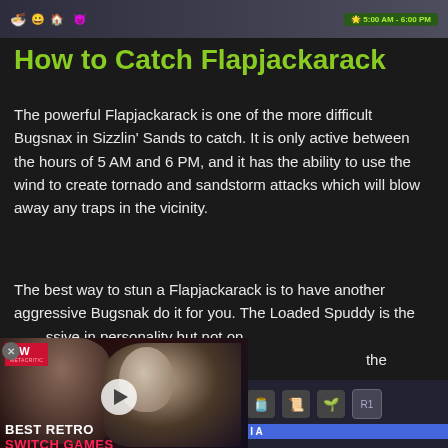[Figure (screenshot): Top game screenshot strip showing emoji icons and a time badge '5:00 AM - 6:00 PM']
How to Catch Flapjackarack
The powerful Flapjackarack is one of the more difficult Bugsnax in Sizzlin' Sands to catch. It is only active between the hours of 5 AM and 6 PM, and it has the ability to use the wind to create tornado and sandstorm attacks which will blow away any traps in the vicinity.
The best way to stun a Flapjackarack is to have another aggressive Bugsnak do it for you. The Loaded Spuddy is the ideal choice because it is aggressive in personality but not on approach. You can also shoot cheese or ketchup onto a Flapjackarack to get the Loaded Spuddy to tackle it. You need to catch the Flapjackrack before its timer runs
[Figure (screenshot): Embedded video ad overlay showing 'BEST RETRO SWITCH GAMES' with MW logo and play button over a dark cinematic game scene]
[Figure (screenshot): Bottom game HUD strip showing Bugapedia icon bar with game inventory icons]